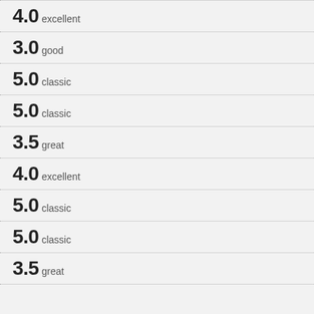4.0 excellent
3.0 good
5.0 classic
5.0 classic
3.5 great
4.0 excellent
5.0 classic
5.0 classic
3.5 great